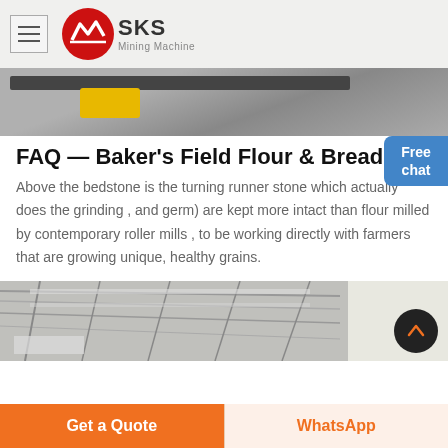SKS Mining Machine
[Figure (photo): Close-up photo of mining machinery parts with yellow component visible]
FAQ — Baker's Field Flour & Bread
Above the bedstone is the turning runner stone which actually does the grinding , and germ) are kept more intact than flour milled by contemporary roller mills , to be working directly with farmers that are growing unique, healthy grains.
[Figure (photo): Interior photo of an industrial warehouse with visible steel ceiling beams and roof structure]
Get a Quote | WhatsApp